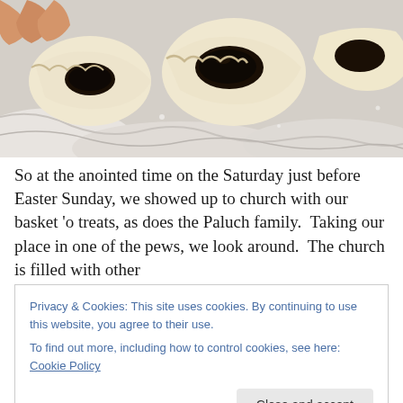[Figure (photo): Close-up photo of dumplings or pierogi filled with dark (prune/fruit) filling, arranged on a white cloth. A hand is visible pinching one in the top-left corner.]
So at the anointed time on the Saturday just before Easter Sunday, we showed up to church with our basket 'o treats, as does the Paluch family.  Taking our place in one of the pews, we look around.  The church is filled with other
Privacy & Cookies: This site uses cookies. By continuing to use this website, you agree to their use.
To find out more, including how to control cookies, see here: Cookie Policy
Close and accept